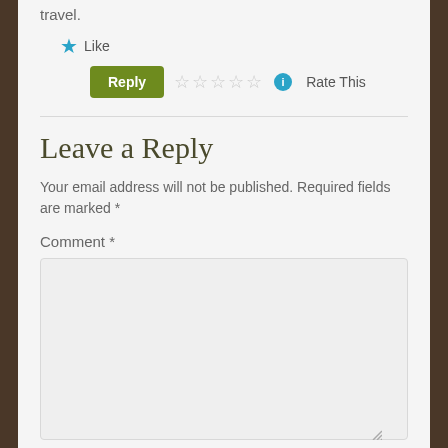travel.
★ Like
Reply    ☆☆☆☆☆ ⓘ Rate This
Leave a Reply
Your email address will not be published. Required fields are marked *
Comment *